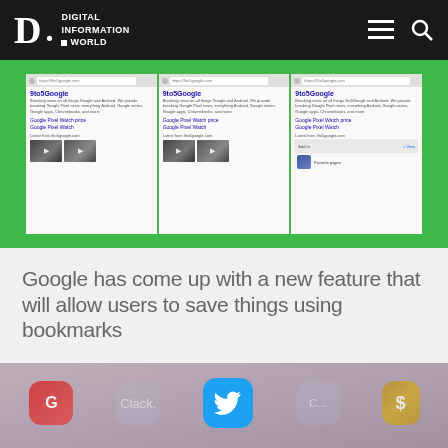Digital Information World
[Figure (screenshot): Screenshot showing Google search results panels on a green background, demonstrating a new bookmark/save feature]
Google has come up with a new feature that will allow users to save things using bookmarks
[Figure (photo): Close-up photo of smartphone app icons including Twitter bird icon and other colorful app icons on a blurred background]